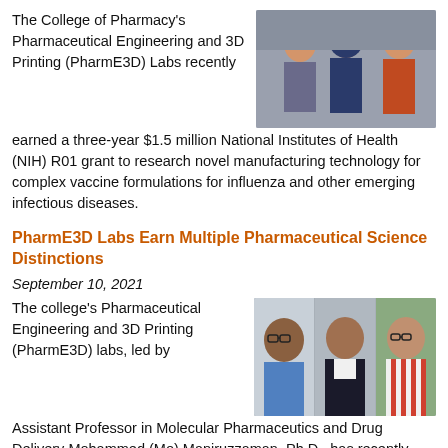The College of Pharmacy's Pharmaceutical Engineering and 3D Printing (PharmE3D) Labs recently earned a three-year $1.5 million National Institutes of Health (NIH) R01 grant to research novel manufacturing technology for complex vaccine formulations for influenza and other emerging infectious diseases.
[Figure (photo): Group photo of three women researchers in a laboratory setting]
PharmE3D Labs Earn Multiple Pharmaceutical Science Distinctions
September 10, 2021
The college's Pharmaceutical Engineering and 3D Printing (PharmE3D) labs, led by Assistant Professor in Molecular Pharmaceutics and Drug Delivery Mohammed (Mo) Maniruzzaman, Ph.D., has recently earned several national and international awards and scholarships for outstanding research
[Figure (photo): Three male researchers shown in individual portrait photos side by side]